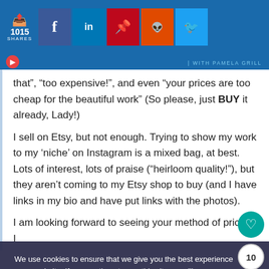[Figure (screenshot): Top navigation bar with share count (1015 SHARES) and social media buttons: Facebook, LinkedIn, Pinterest, Reddit, Twitter on blue background]
WITH PAMELA GRILL
that", "too expensive!", and even "your prices are too cheap for the beautiful work" (So please, just BUY it already, Lady!)
I sell on Etsy, but not enough. Trying to show my work to my ‘niche’ on Instagram is a mixed bag, at best. Lots of interest, lots of praise (“heirloom quality!”), but they aren’t coming to my Etsy shop to buy (and I have links in my bio and have put links with the photos).
I am looking forward to seeing your method of pricing. I
We use cookies to ensure that we give you the best experience on our website. If you continue to use this site we will assume you are ok with our Privacy policy.
[Figure (infographic): Bottom advertisement banner: SHE CAN STEM with Learn More button on dark background]